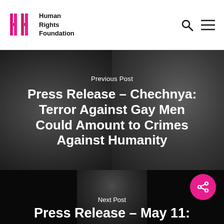Human Rights Foundation
[Figure (photo): Two men in dark jackets greeting each other, with a man in suit in the background. Dark, muted tones.]
Previous Post
Press Release – Chechnya: Terror Against Gay Men Could Amount to Crimes Against Humanity
[Figure (photo): Dark background with partial face of a man visible, bottom section of page.]
Next Post
Press Release – May 11: